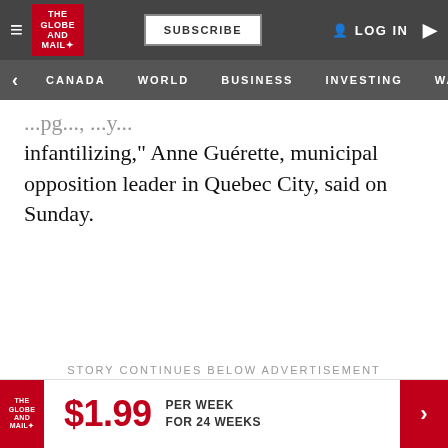The Globe and Mail — SUBSCRIBE | LOG IN
CANADA | WORLD | BUSINESS | INVESTING | WATCH
infantilizing," Anne Guérette, municipal opposition leader in Quebec City, said on Sunday.
STORY CONTINUES BELOW ADVERTISEMENT
$1.99 PER WEEK FOR 24 WEEKS